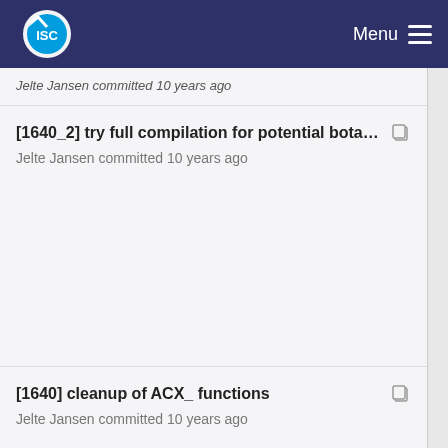ISC — Menu
Jelte Jansen committed 10 years ago
[1640_2] try full compilation for potential botan set... Jelte Jansen committed 10 years ago
[1640] cleanup of ACX_ functions
Jelte Jansen committed 10 years ago
[1640_2] try full compilation for potential botan set... Jelte Jansen committed 10 years ago